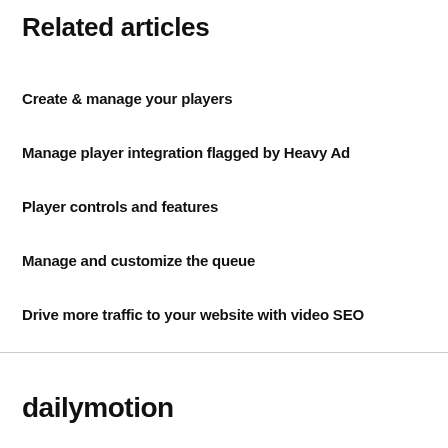Related articles
Create & manage your players
Manage player integration flagged by Heavy Ad
Player controls and features
Manage and customize the queue
Drive more traffic to your website with video SEO
dailymotion